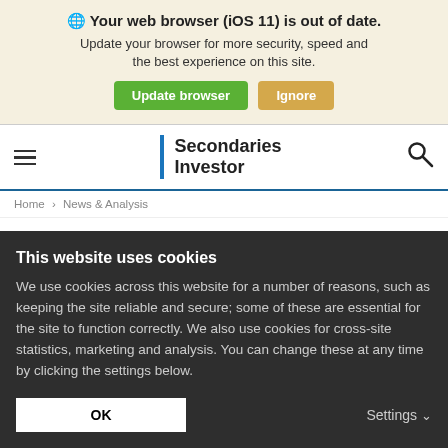Your web browser (iOS 11) is out of date. Update your browser for more security, speed and the best experience on this site. [Update browser] [Ignore]
[Figure (screenshot): Navigation bar with hamburger menu, Secondaries Investor logo with blue vertical bar, and search icon]
Home > News & Analysis
Deals
Ha... (partial headline cut off)
This website uses cookies
We use cookies across this website for a number of reasons, such as keeping the site reliable and secure; some of these are essential for the site to function correctly. We also use cookies for cross-site statistics, marketing and analysis. You can change these at any time by clicking the settings below.
OK    Settings